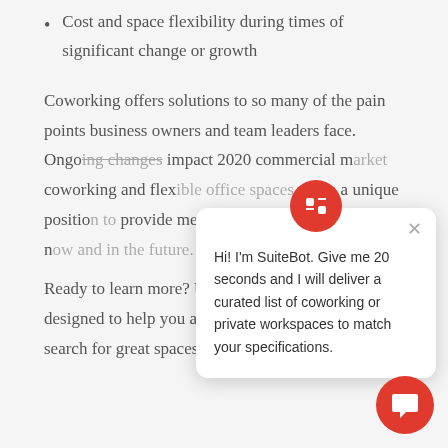Cost and space flexibility during times of significant change or growth
Coworking offers solutions to so many of the pain points business owners and team leaders face. Ongoing changes impact 2020 commercial market coworking and flexible office spaces are in a unique position to provide meaningful members — both now and in the future.
Ready to learn more? Upsuite offers services designed to help you analyze your space needs, search for great spaces, and visit your
[Figure (screenshot): SuiteBot chat widget popup with red circular icon at top, close X button, and message: Hi! I'm SuiteBot. Give me 20 seconds and I will deliver a curated list of coworking or private workspaces to match your specifications.]
[Figure (screenshot): Red circular chat bubble button in bottom-right corner with white chat icon]